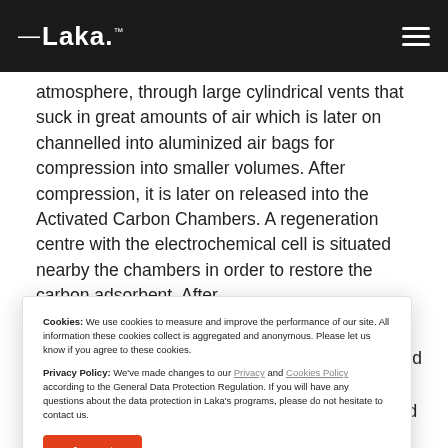Laka™
atmosphere, through large cylindrical vents that suck in great amounts of air which is later on channelled into aluminized air bags for compression into smaller volumes. After compression, it is later on released into the Activated Carbon Chambers. A regeneration centre with the electrochemical cell is situated nearby the chambers in order to restore the carbon adsorbent. After
Cookies: We use cookies to measure and improve the performance of our site. All information these cookies collect is aggregated and anonymous. Please let us know if you agree to these cookies.

Privacy Policy: We've made changes to our Privacy and Cookies Policy according to the General Data Protection Regulation. If you will have any questions about the data protection in Laka's programs, please do not hesitate to contact us.
Accept
Reject
and explore this 'floatscraper'. The housing scheme boasts 3D-printed residential units